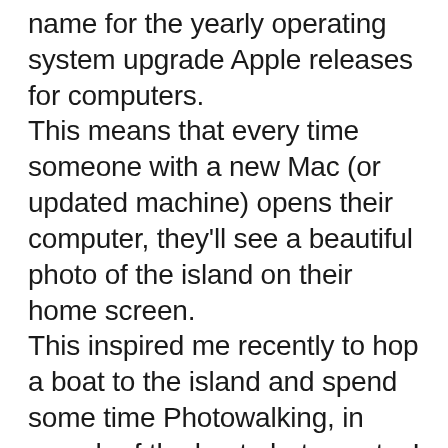name for the yearly operating system upgrade Apple releases for computers. This means that every time someone with a new Mac (or updated machine) opens their computer, they'll see a beautiful photo of the island on their home screen. This inspired me recently to hop a boat to the island and spend some time Photowalking, in search of the best photo spots. I walked and walked and walked, which is a good thing, got in one great sunrise, a memorable sunset and a quasi sunset that was actually the best of the bunch.